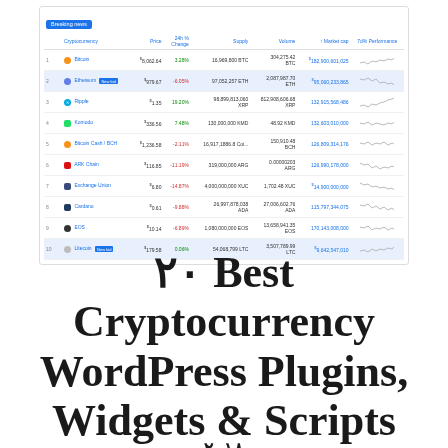[Figure (screenshot): Screenshot of a cryptocurrency market data table showing top 10 cryptocurrencies with columns for Cryptocurrency, Price, 24h% Change, Supply, Volume, Market Cap, and 7d Performance sparklines. Entries include Bitcoin, Ethereum, Ripple, Komodo, Bitcoin Cash/BCH, ARK Chain, Exchange Union, Cardano, EOS, and Litecoin.]
۲۰ Best Cryptocurrency WordPress Plugins, Widgets & Scripts
۲۰۱۸